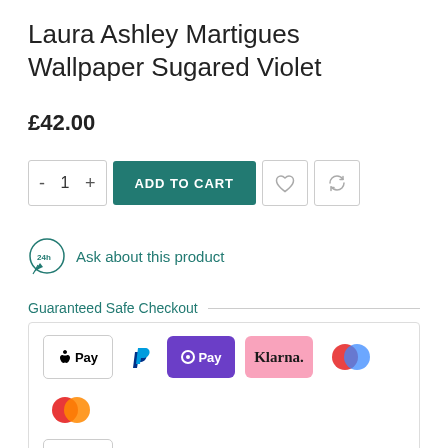Laura Ashley Martigues Wallpaper Sugared Violet
£42.00
[Figure (other): Add to cart controls: quantity selector (- 1 +), ADD TO CART button in teal, heart icon button, refresh/compare icon button]
Ask about this product
Guaranteed Safe Checkout
[Figure (infographic): Payment method logos: Apple Pay, PayPal, OPay, Klarna, Mastercard (blue/red circles), Mastercard (orange/red circles), VISA]